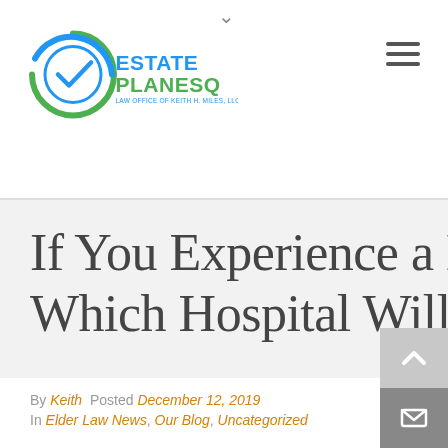[Figure (logo): EstatePlanESQ logo — circular blue/green checkmark icon with text 'ESTATE PLANESQ' and subtitle 'LAW OFFICE OF KEITH H. MILES, LLC/PLLC']
If You Experience a Medical Emergency, Which Hospital Will You Go To?
By Keith  Posted December 12, 2019
In Elder Law News, Our Blog, Uncategorized